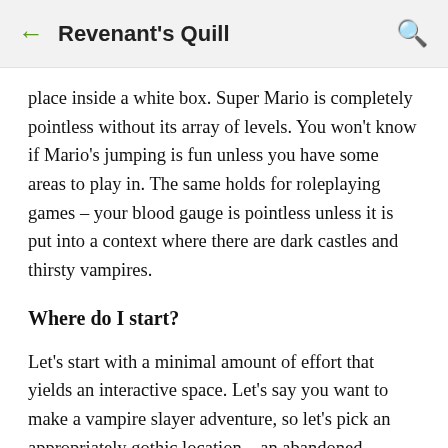← Revenant's Quill 🔍
place inside a white box. Super Mario is completely pointless without its array of levels. You won't know if Mario's jumping is fun unless you have some areas to play in. The same holds for roleplaying games – your blood gauge is pointless unless it is put into a context where there are dark castles and thirsty vampires.
Where do I start?
Let's start with a minimal amount of effort that yields an interactive space. Let's say you want to make a vampire slayer adventure, so let's pick an appropriately gothic location – an abandoned cathedral. A really